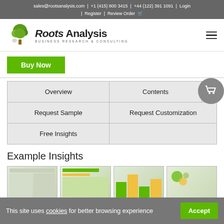sales@rootsanalysis.com | +1 (415) 800 3415 | +44 (122) 391 1091 | Login | Register | Review Order
[Figure (logo): Roots Analysis logo with tree icon and text 'BUSINESS RESEARCH & CONSULTING']
[Figure (other): Green Buy Now button]
| Overview | Contents |
| Request Sample | Request Customization |
| Free Insights |  |
Example Insights
[Figure (other): Four thumbnail preview images of report content]
This site uses cookies for better browsing experience
[Figure (other): Accept button for cookie consent]